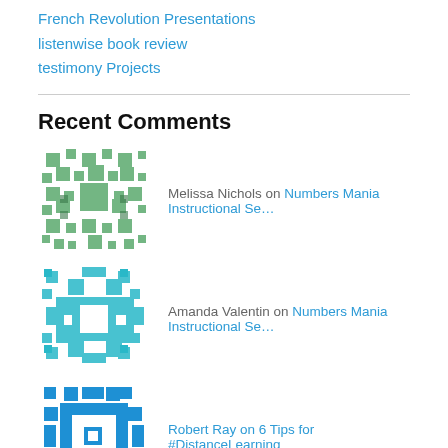French Revolution Presentations
listenwise book review
testimony Projects
Recent Comments
Melissa Nichols on Numbers Mania Instructional Se…
Amanda Valentin on Numbers Mania Instructional Se…
Robert Ray on 6 Tips for #DistanceLearning
scottmpetri on NCSS MOOC Launches with 1400 T…
mjpadge79 on NCSS MOOC Launches with 1400 T…